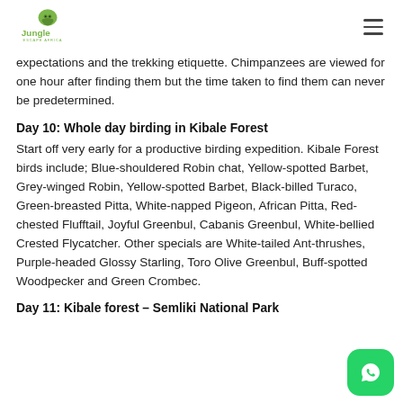Jungle Escape Africa
expectations and the trekking etiquette. Chimpanzees are viewed for one hour after finding them but the time taken to find them can never be predetermined.
Day 10: Whole day birding in Kibale Forest
Start off very early for a productive birding expedition. Kibale Forest birds include; Blue-shouldered Robin chat, Yellow-spotted Barbet, Grey-winged Robin, Yellow-spotted Barbet, Black-billed Turaco, Green-breasted Pitta, White-napped Pigeon, African Pitta, Red-chested Flufftail, Joyful Greenbul, Cabanis Greenbul, White-bellied Crested Flycatcher. Other specials are White-tailed Ant-thrushes, Purple-headed Glossy Starling, Toro Olive Greenbul, Buff-spotted Woodpecker and Green Crombec.
Day 11: Kibale forest – Semliki National Park